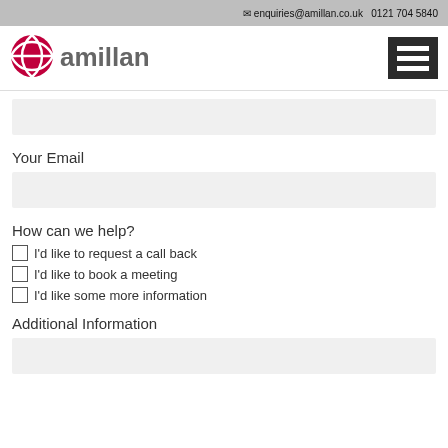✉ enquiries@amillan.co.uk  0121 704 5840
[Figure (logo): Amillan logo with red globe icon and grey 'amillan' wordmark]
Your Email
How can we help?
I'd like to request a call back
I'd like to book a meeting
I'd like some more information
Additional Information